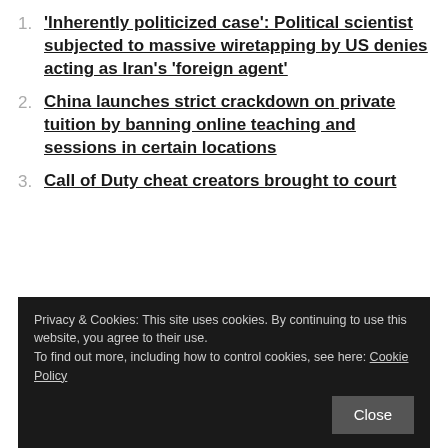1. 'Inherently politicized case': Political scientist subjected to massive wiretapping by US denies acting as Iran's 'foreign agent'
2. China launches strict crackdown on private tuition by banning online teaching and sessions in certain locations
3. Call of Duty cheat creators brought to court
YOU MAY ALSO LIKE...
Privacy & Cookies: This site uses cookies. By continuing to use this website, you agree to their use.
To find out more, including how to control cookies, see here: Cookie Policy